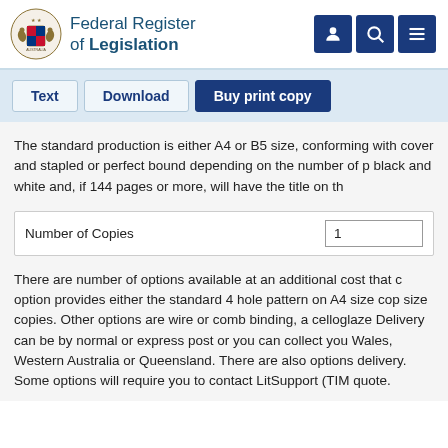Federal Register of Legislation
Text | Download | Buy print copy
The standard production is either A4 or B5 size, conforming with cover and stapled or perfect bound depending on the number of pages. black and white and, if 144 pages or more, will have the title on th
| Number of Copies |  |
| --- | --- |
| Number of Copies | 1 |
There are number of options available at an additional cost that c option provides either the standard 4 hole pattern on A4 size cop size copies. Other options are wire or comb binding, a celloglaze Delivery can be by normal or express post or you can collect you Wales, Western Australia or Queensland. There are also options delivery. Some options will require you to contact LitSupport (TIM quote.